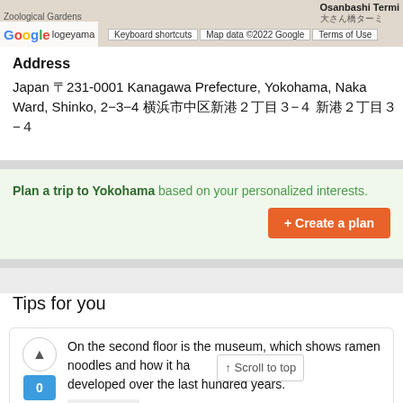[Figure (screenshot): Google Maps bar with logo, keyboard shortcuts, map data copyright, and terms of use]
Address
Japan 〒231-0001 Kanagawa Prefecture, Yokohama, Naka Ward, Shinko, 2−3−4 横浜市中区新港２丁目３−４ 新港２丁目３−４
Plan a trip to Yokohama based on your personalized interests.
Tips for you
On the second floor is the museum, which shows ramen noodles and how it has developed over the last hundred years.